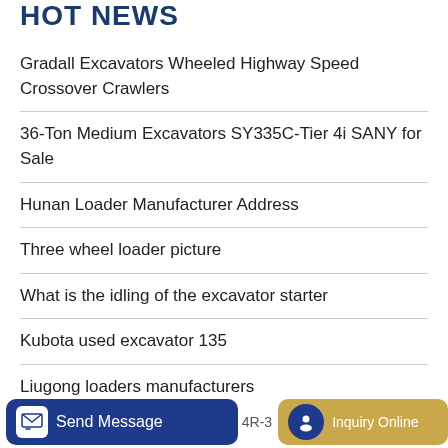HOT NEWS
Gradall Excavators Wheeled Highway Speed Crossover Crawlers
36-Ton Medium Excavators SY335C-Tier 4i SANY for Sale
Hunan Loader Manufacturer Address
Three wheel loader picture
What is the idling of the excavator starter
Kubota used excavator 135
Liugong loaders manufacturers
Send Message  4R-3  Inquiry Online